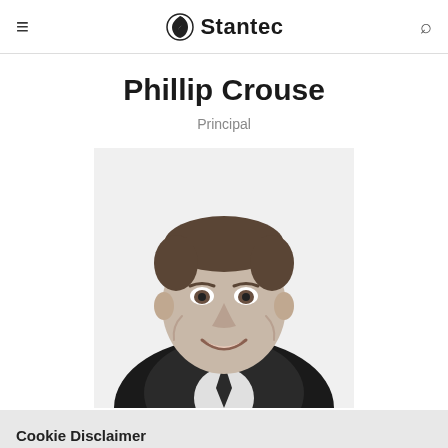≡   Stantec   🔍
Phillip Crouse
Principal
[Figure (photo): Black and white professional headshot of Phillip Crouse, a middle-aged man in a suit and tie, smiling]
Cookie Disclaimer